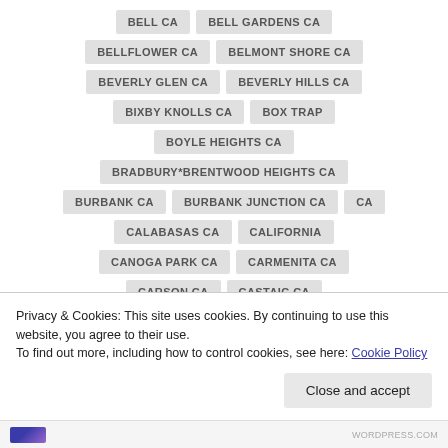BELL CA
BELL GARDENS CA
BELLFLOWER CA
BELMONT SHORE CA
BEVERLY GLEN CA
BEVERLY HILLS CA
BIXBY KNOLLS CA
BOX TRAP
BOYLE HEIGHTS CA
BRADBURY*BRENTWOOD HEIGHTS CA
BURBANK CA
BURBANK JUNCTION CA
CA
CALABASAS CA
CALIFORNIA
CANOGA PARK CA
CARMENITA CA
CARSON CA
CASTAIC CA
CASTELLAMMARE CA
CENTURY CITY CA
Privacy & Cookies: This site uses cookies. By continuing to use this website, you agree to their use.
To find out more, including how to control cookies, see here: Cookie Policy